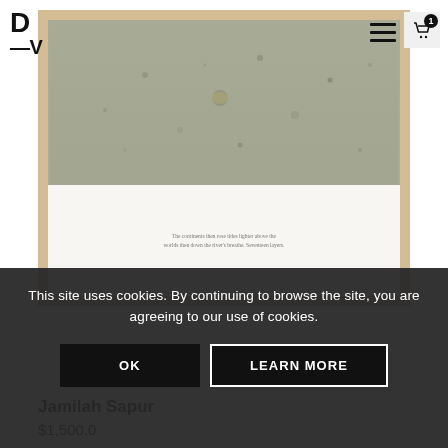[Figure (photo): Artwork in a light wood frame: upper portion shows a concrete/stone textured surface with small imperfections and dots, lower portion shows a white paper with small printed text reading a poetic verse.]
D—V
This site uses cookies. By continuing to browse the site, you are agreeing to our use of cookies.
OK
LEARN MORE
Jamilah Sapur
$1,500.0